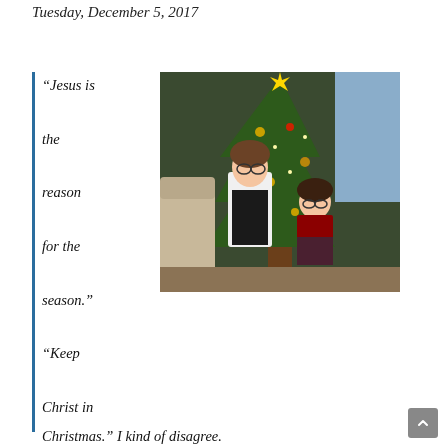Tuesday, December 5, 2017
“Jesus is the reason for the season.” “Keep Christ in Christmas.” I kind of disagree.
[Figure (photo): Two girls standing in front of a decorated Christmas tree. The older girl wears a houndstooth dress and white cardigan; the younger wears a red top and plaid skirt.]
Yes yes yes the season is about Jesus, but the way we say it can sometimes make it seem like Christmas is only about what we think of as “spiritual” stuff. It can play into the idea that what matters is the spirit, and that we